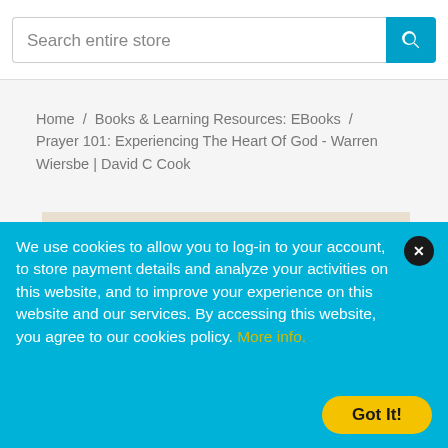Search entire store
Home / Books & Learning Resources: EBooks / Prayer 101: Experiencing The Heart Of God - Warren Wiersbe | David C Cook
[Figure (photo): Book cover showing the word PRAYER in large thin letters on a beige/cream textured background]
Leave a message
We use cookies to allow you to log-in to your account, to store payment details and analyze your activities on this website, and to improve your experience on this website and our services. By accessing this website, you agree to our cookies policy. More info.
Got It!